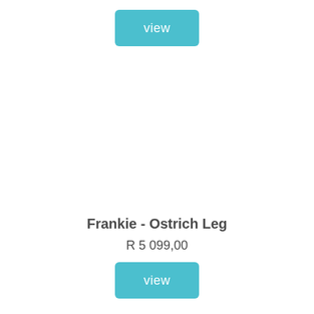[Figure (other): View button (teal/cyan rounded rectangle) at top center]
Frankie - Ostrich Leg
R 5 099,00
[Figure (other): View button (teal/cyan rounded rectangle) below price]